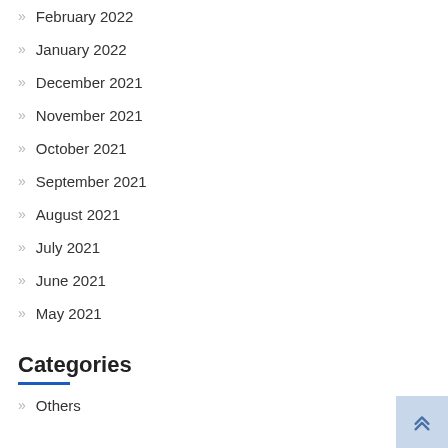February 2022
January 2022
December 2021
November 2021
October 2021
September 2021
August 2021
July 2021
June 2021
May 2021
Categories
Others